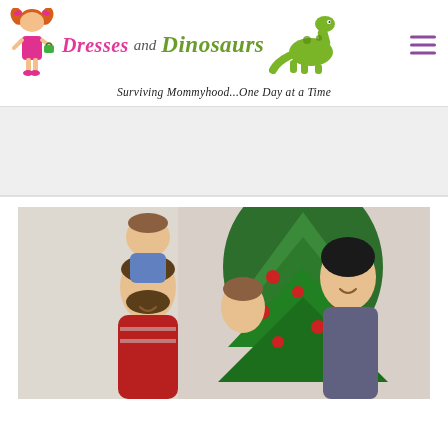[Figure (logo): Dresses and Dinosaurs blog logo with cartoon girl character, dinosaur illustration, and site title text]
Surviving Mommyhood...One Day at a Time
[Figure (photo): Family Christmas photo: father holding young daughter on his shoulders, mother and another child smiling, Christmas tree with red ornaments in background]